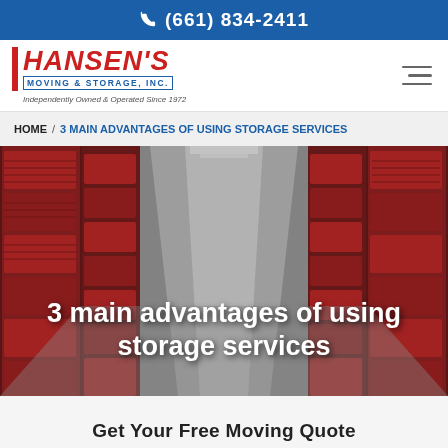(661) 834-2411
[Figure (logo): Hansen's Moving & Storage, Inc. logo with red bar and blue text, tagline: Independently Owned & Operated Since 1972]
HOME / 3 MAIN ADVANTAGES OF USING STORAGE SERVICES
[Figure (photo): Interior corridor of a storage facility with rows of red roll-up doors on both sides under bright overhead lighting]
3 main advantages of using storage services
Get Your Free Moving Quote